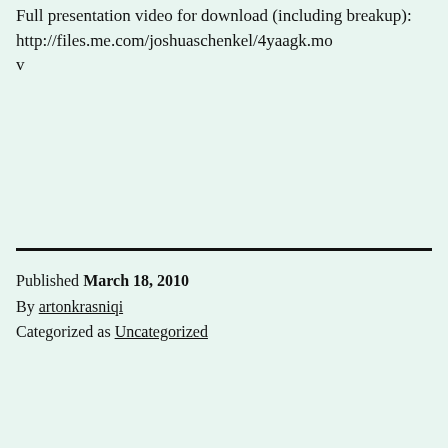Full presentation video for download (including breakup):
http://files.me.com/joshuaschenkel/4yaagk.mov
Published March 18, 2010
By artonkrasniqi
Categorized as Uncategorized